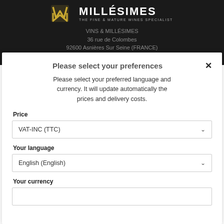[Figure (logo): Vins & Millesimes logo with gold and white WM monogram on dark background, with tagline 'THE FINE & MATURE WINES SPECIALIST']
VINS & MILLÉSIMES
36 rue de Colombes
92600 Asnières Sur Seine (FRANCE)
Please select your preferences
Please select your preferred language and currency. It will update automatically the prices and delivery costs.
Price
VAT-INC (TTC)
Your language
English (English)
Your currency